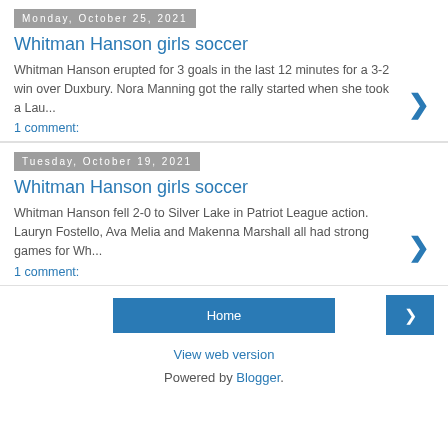Monday, October 25, 2021
Whitman Hanson girls soccer
Whitman Hanson erupted for 3 goals in the last 12 minutes for a 3-2 win over Duxbury. Nora Manning got the rally started when she took a Lau...
1 comment:
Tuesday, October 19, 2021
Whitman Hanson girls soccer
Whitman Hanson fell 2-0 to Silver Lake in Patriot League action. Lauryn Fostello, Ava Melia and Makenna Marshall all had strong games for Wh...
1 comment:
Home
View web version
Powered by Blogger.